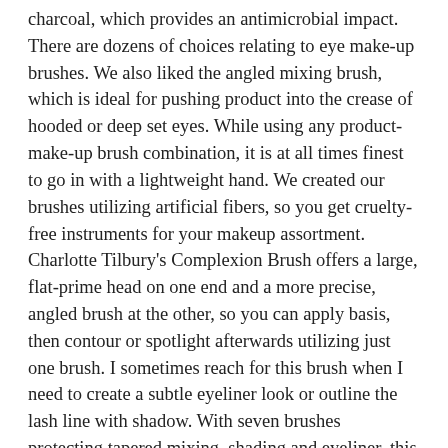charcoal, which provides an antimicrobial impact. There are dozens of choices relating to eye make-up brushes. We also liked the angled mixing brush, which is ideal for pushing product into the crease of hooded or deep set eyes. While using any product-make-up brush combination, it is at all times finest to go in with a lightweight hand. We created our brushes utilizing artificial fibers, so you get cruelty-free instruments for your makeup assortment. Charlotte Tilbury's Complexion Brush offers a large, flat-prime head on one end and a more precise, angled brush at the other, so you can apply basis, then contour or spotlight afterwards utilizing just one brush. I sometimes reach for this brush when I need to create a subtle eyeliner look or outline the lash line with shadow. With seven brushes protecting tapered mixing, shading and eyeliner, this kit is as simple to use as it's on the attention. Whereas we're talking about make-up brushes, it is important to keep an eye on your routine to keep away from infections, rashes, and different unseemly results from using soiled brushes. These skilled brushes are totally vegan, with a mix of artificial bristles which can be simple to clean. Simply shake off extra powder earlier than applying on the pores and skin. This bargain brush set consists of 17 completely different brush sorts, together with a flat